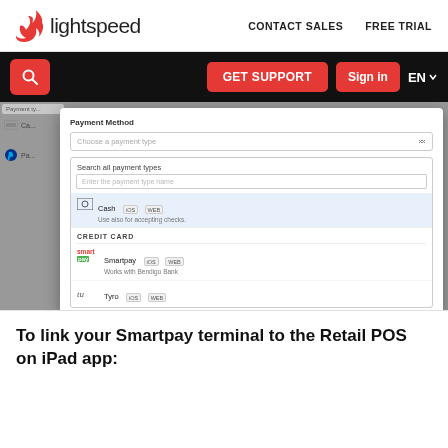lightspeed | CONTACT SALES | FREE TRIAL
[Figure (screenshot): Lightspeed support page screenshot showing a payment method selection modal with dropdown options including Cash (iOS, WEB), and Credit Card section with Smartpay (iOS, WEB) and Tyro options. Navigation bar with GET SUPPORT, Sign in, and EN language buttons visible.]
To link your Smartpay terminal to the Retail POS on iPad app: